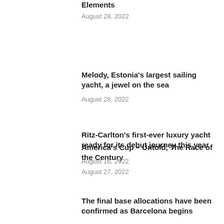Elements
August 28, 2022
Melody, Estonia's largest sailing yacht, a jewel on the sea
August 28, 2022
America's Cup – Untold, The Race of the Century
August 27, 2022
Ritz-Carlton's first-ever luxury yacht ready for its debut journey this year
August 16, 2022
The final base allocations have been confirmed as Barcelona begins